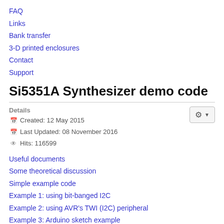FAQ
Links
Bank transfer
3-D printed enclosures
Contact
Support
Si5351A Synthesizer demo code
Details
Created: 12 May 2015
Last Updated: 08 November 2016
Hits: 116599
Useful documents
Some theoretical discussion
Simple example code
Example 1: using bit-banged I2C
Example 2: using AVR's TWI (I2C) peripheral
Example 3: Arduino sketch example
Example 4: OE1CGS Arduino sketch
PIC example code by Russ G4SAQ
A note on Low Frequency operation
This page contains some example code for the Si5351A synthesizer